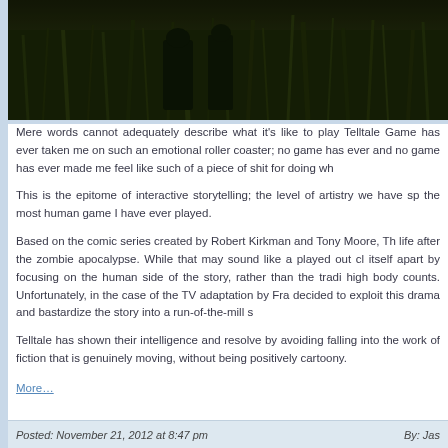[Figure (photo): Dark scene showing figures in tall grass/vegetation, zombie apocalypse theme, dark and moody lighting]
Mere words cannot adequately describe what it's like to play Telltale Game has ever taken me on such an emotional roller coaster; no game has ever and no game has ever made me feel like such of a piece of shit for doing wh
This is the epitome of interactive storytelling; the level of artistry we have sp the most human game I have ever played.
Based on the comic series created by Robert Kirkman and Tony Moore, Th life after the zombie apocalypse. While that may sound like a played out cl itself apart by focusing on the human side of the story, rather than the tradi high body counts. Unfortunately, in the case of the TV adaptation by Fra decided to exploit this drama and bastardize the story into a run-of-the-mill s
Telltale has shown their intelligence and resolve by avoiding falling into the work of fiction that is genuinely moving, without being positively cartoony.
More…
Posted: November 21, 2012 at 8:47 pm    By: Jas